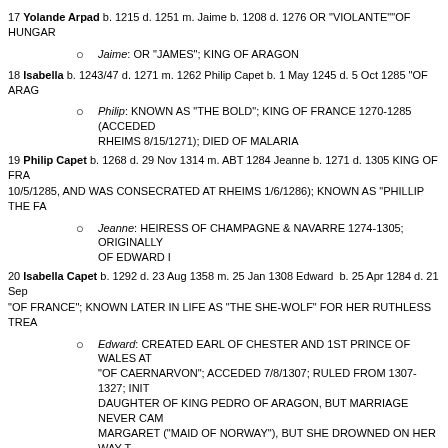17 Yolande Arpad b. 1215 d. 1251 m. Jaime b. 1208 d. 1276 OR "VIOLANTE""OF HUNGARY
Jaime: OR "JAMES"; KING OF ARAGON
18 Isabella b. 1243/47 d. 1271 m. 1262 Philip Capet b. 1 May 1245 d. 5 Oct 1285 "OF ARAG
Philip: KNOWN AS "THE BOLD"; KING OF FRANCE 1270-1285 (ACCEDED RHEIMS 8/15/1271); DIED OF MALARIA
19 Philip Capet b. 1268 d. 29 Nov 1314 m. ABT 1284 Jeanne b. 1271 d. 1305 KING OF FRA 10/5/1285, AND WAS CONSECRATED AT RHEIMS 1/6/1286); KNOWN AS "PHILLIP THE FA
Jeanne: HEIRESS OF CHAMPAGNE & NAVARRE 1274-1305; ORIGINALLY OF EDWARD I
20 Isabella Capet b. 1292 d. 23 Aug 1358 m. 25 Jan 1308 Edward b. 25 Apr 1284 d. 21 Sep "OF FRANCE"; KNOWN LATER IN LIFE AS "THE SHE-WOLF" FOR HER RUTHLESS TREA
Edward: CREATED EARL OF CHESTER AND 1ST PRINCE OF WALES AT "OF CAERNARVON"; ACCEDED 7/8/1307; RULED FROM 1307-1327; INIT DAUGHTER OF KING PEDRO OF ARAGON, BUT MARRIAGE NEVER CAM MARGARET ("MAID OF NORWAY"), BUT SHE DROWNED ON HER WAY T THIRDLY BETROTHED TO PHILLIPA, DAUGHTER OF GUY DE DAMPIER DIED 1297; DEPOSED/ABDICATED 1/20/1327 BY HIS QUEEN, ISABELLA PRESUMABLY MURDERED IN BERKELEY CASTLE - A CONTEMPORARY CASTLE CLAIMED HE WAS "IGNOMINIOUSLY SLAIN WITH A RED-HOT S (EVICERATION WITH A HOT IRON) [CROWNED WESTMINSTER]